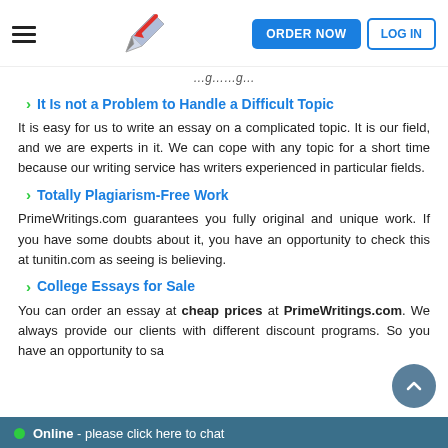ORDER NOW | LOG IN
It Is not a Problem to Handle a Difficult Topic
It is easy for us to write an essay on a complicated topic. It is our field, and we are experts in it. We can cope with any topic for a short time because our writing service has writers experienced in particular fields.
Totally Plagiarism-Free Work
PrimeWritings.com guarantees you fully original and unique work. If you have some doubts about it, you have an opportunity to check this at tunitin.com as seeing is believing.
College Essays for Sale
You can order an essay at cheap prices at PrimeWritings.com. We always provide our clients with different discount programs. So you have an opportunity to sa